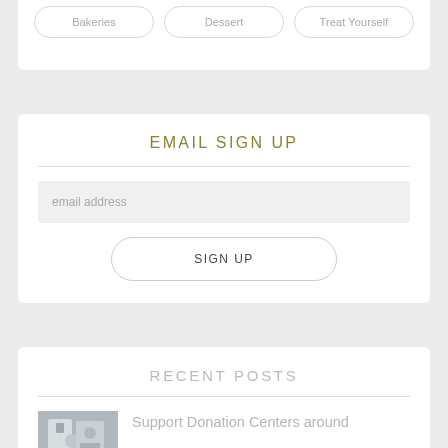Bakeries
Dessert
Treat Yourself
EMAIL SIGN UP
email address
SIGN UP
RECENT POSTS
Support Donation Centers around